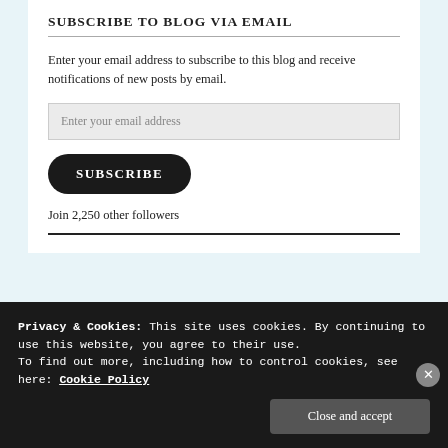SUBSCRIBE TO BLOG VIA EMAIL
Enter your email address to subscribe to this blog and receive notifications of new posts by email.
Enter your email address
SUBSCRIBE
Join 2,250 other followers
Privacy & Cookies: This site uses cookies. By continuing to use this website, you agree to their use.
To find out more, including how to control cookies, see here: Cookie Policy
Close and accept